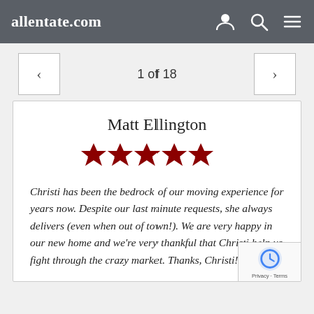allentate.com
1 of 18
Matt Ellington
[Figure (other): Five filled red stars representing a 5-star rating]
Christi has been the bedrock of our moving experience for years now. Despite our last minute requests, she always delivers (even when out of town!). We are very happy in our new home and we're very thankful that Christi help us fight through the crazy market. Thanks, Christi!